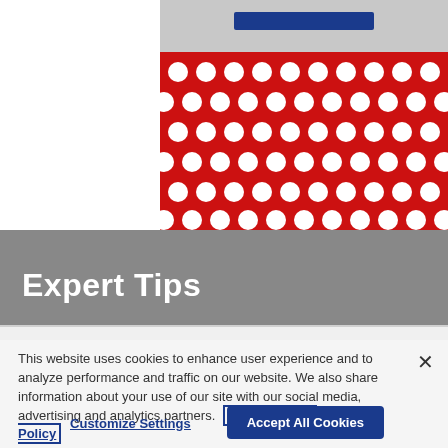[Figure (photo): Top portion of a webpage showing a gray strip with a blue button/bar and a red polka-dot decorative strip below it.]
Expert Tips
This website uses cookies to enhance user experience and to analyze performance and traffic on our website. We also share information about your use of our site with our social media, advertising and analytics partners. Link to Cookie Policy
Customize Settings
Accept All Cookies